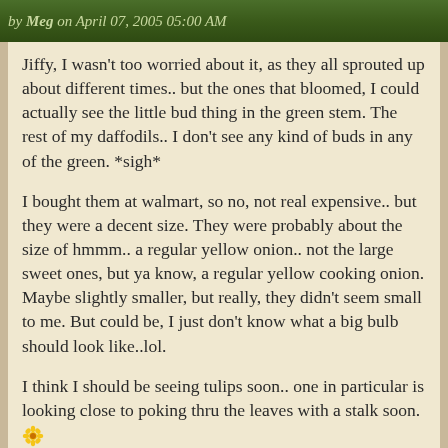by Meg on April 07, 2005 05:00 AM
Jiffy, I wasn't too worried about it, as they all sprouted up about different times.. but the ones that bloomed, I could actually see the little bud thing in the green stem. The rest of my daffodils.. I don't see any kind of buds in any of the green. *sigh*
I bought them at walmart, so no, not real expensive.. but they were a decent size. They were probably about the size of hmmm.. a regular yellow onion.. not the large sweet ones, but ya know, a regular yellow cooking onion. Maybe slightly smaller, but really, they didn't seem small to me. But could be, I just don't know what a big bulb should look like..lol.
I think I should be seeing tulips soon.. one in particular is looking close to poking thru the leaves with a stalk soon. 🌻
Also, yea, I didn't get all my bulbs in the ground this past fall, and they've been sitting in my closet, in a bag, in a bag